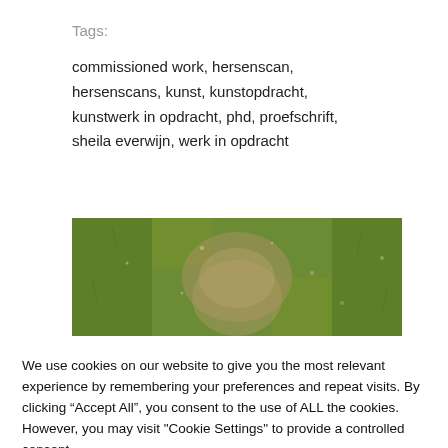Tags:
commissioned work, hersenscan, hersenscans, kunst, kunstopdracht, kunstwerk in opdracht, phd, proefschrift, sheila everwijn, werk in opdracht
[Figure (photo): A close-up aerial or ground-level photo of green grass with a dirt path running through it]
We use cookies on our website to give you the most relevant experience by remembering your preferences and repeat visits. By clicking “Accept All”, you consent to the use of ALL the cookies. However, you may visit "Cookie Settings" to provide a controlled consent.